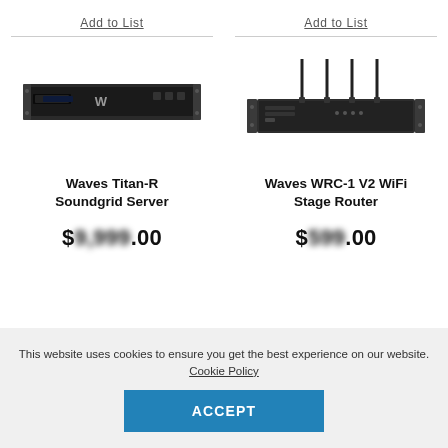Add to List
Add to List
[Figure (photo): Waves Titan-R Soundgrid Server rack unit, black, front view]
[Figure (photo): Waves WRC-1 V2 WiFi Stage Router with four tall antennas, rack mount unit]
Waves Titan-R Soundgrid Server
Waves WRC-1 V2 WiFi Stage Router
$9,999.00
$599.00
This website uses cookies to ensure you get the best experience on our website. Cookie Policy
ACCEPT